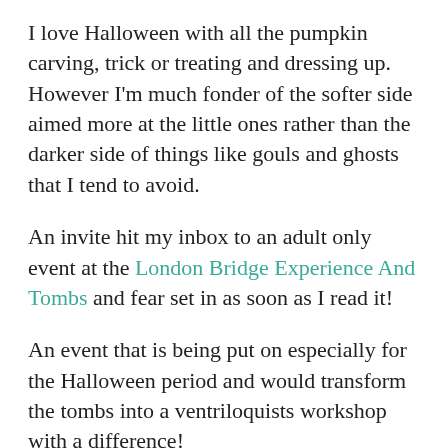I love Halloween with all the pumpkin carving, trick or treating and dressing up. However I'm much fonder of the softer side aimed more at the little ones rather than the darker side of things like gouls and ghosts that I tend to avoid.
An invite hit my inbox to an adult only event at the London Bridge Experience And Tombs and fear set in as soon as I read it!
An event that is being put on especially for the Halloween period and would transform the tombs into a ventriloquists workshop with a difference!
There was no way I was going to go it alone so I